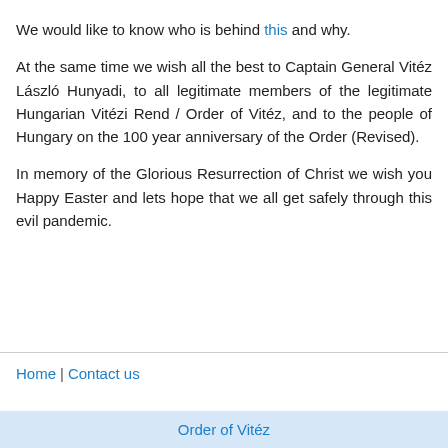We would like to know who is behind this and why.
At the same time we wish all the best to Captain General Vitéz László Hunyadi, to all legitimate members of the legitimate Hungarian Vitézi Rend / Order of Vitéz, and to the people of Hungary on the 100 year anniversary of the Order (Revised).
In memory of the Glorious Resurrection of Christ we wish you Happy Easter and lets hope that we all get safely through this evil pandemic.
Home | Contact us
Order of Vitéz